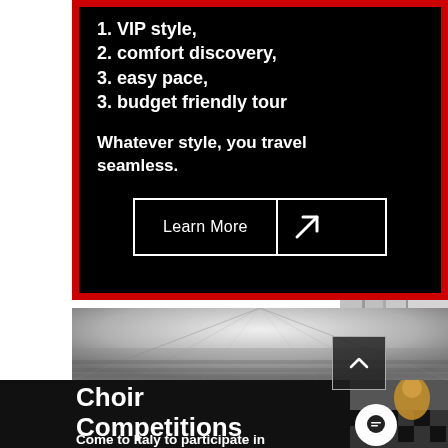1. VIP style,
2. comfort discovery,
3. easy pace,
3. budget friendly tour
Whatever style, you travel seamless.
[Figure (other): Learn More button with arrow icon]
[Figure (photo): Panoramic hall with reflective marble floor, black and white]
Choir Competitions
Come to Italy to participate in International Choir Competitions